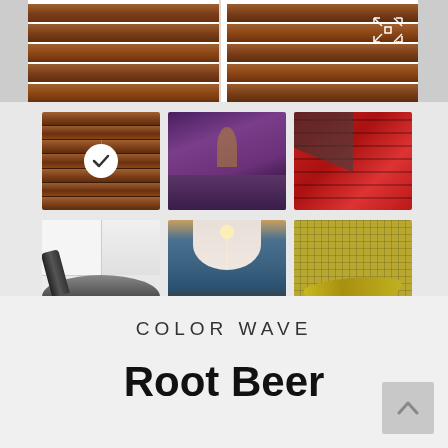[Figure (photo): Top banner showing brown horizontal window blinds split into two panels. Right panel has an expand/maximize icon overlay.]
[Figure (photo): Grid of 6 thumbnail images. Row 1: (1) brown horizontal blinds with white checkmark circle overlay (selected), (2) purple-lit room with hanging fixture, (3) red tile wall with dark figure. Row 2: (1) white bathroom tiles with black faucet and sink, (2) blue-tiled arched hallway corridor, (3) gold/yellow mosaic tiles with yellow chaise lounge.]
COLOR WAVE
Root Beer